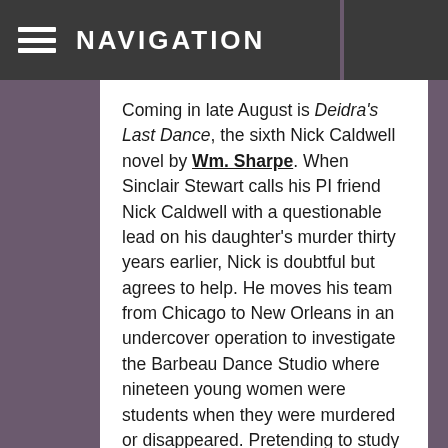NAVIGATION
Coming in late August is Deidra's Last Dance, the sixth Nick Caldwell novel by Wm. Sharpe. When Sinclair Stewart calls his PI friend Nick Caldwell with a questionable lead on his daughter's murder thirty years earlier, Nick is doubtful but agrees to help. He moves his team from Chicago to New Orleans in an undercover operation to investigate the Barbeau Dance Studio where nineteen young women were students when they were murdered or disappeared. Pretending to study old buildings for paranormal activity, they set to work. But there are more questions than answers. Has it been too long? Will the Dance